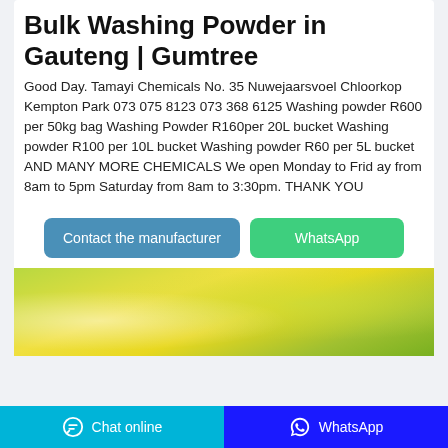Bulk Washing Powder in Gauteng | Gumtree
Good Day. Tamayi Chemicals No. 35 Nuwejaarsvoel Chloorkop Kempton Park 073 075 8123 073 368 6125 Washing powder R600 per 50kg bag Washing Powder R160per 20L bucket Washing powder R100 per 10L bucket Washing powder R60 per 5L bucket AND MANY MORE CHEMICALS We open Monday to Frid ay from 8am to 5pm Saturday from 8am to 3:30pm. THANK YOU
[Figure (other): Two buttons: 'Contact the manufacturer' (blue) and 'WhatsApp' (green)]
[Figure (photo): Product photo showing yellow/green washing powder products or chemicals]
Chat online   WhatsApp